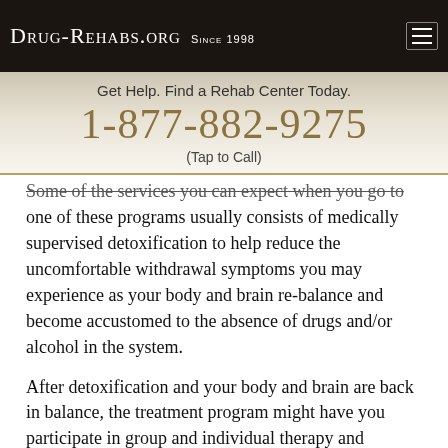Drug-Rehabs.org Since 1998
Get Help. Find a Rehab Center Today.
1-877-882-9275
(Tap to Call)
Some of the services you can expect when you go to one of these programs usually consists of medically supervised detoxification to help reduce the uncomfortable withdrawal symptoms you may experience as your body and brain re-balance and become accustomed to the absence of drugs and/or alcohol in the system.
After detoxification and your body and brain are back in balance, the treatment program might have you participate in group and individual therapy and counseling. Some also provide family counseling services to help the entire family come to terms with the addiction, and learn how to support the recovering